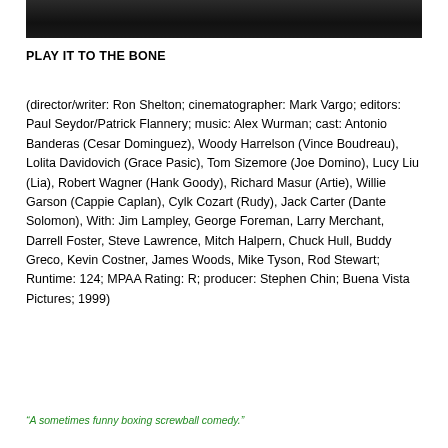[Figure (photo): Dark/black background image, appears to be a still from a film — top portion of page]
PLAY IT TO THE BONE
(director/writer: Ron Shelton; cinematographer: Mark Vargo; editors: Paul Seydor/Patrick Flannery; music: Alex Wurman; cast: Antonio Banderas (Cesar Dominguez), Woody Harrelson (Vince Boudreau), Lolita Davidovich (Grace Pasic), Tom Sizemore (Joe Domino), Lucy Liu (Lia), Robert Wagner (Hank Goody), Richard Masur (Artie), Willie Garson (Cappie Caplan), Cylk Cozart (Rudy), Jack Carter (Dante Solomon), With: Jim Lampley, George Foreman, Larry Merchant, Darrell Foster, Steve Lawrence, Mitch Halpern, Chuck Hull, Buddy Greco, Kevin Costner, James Woods, Mike Tyson, Rod Stewart; Runtime: 124; MPAA Rating: R; producer: Stephen Chin; Buena Vista Pictures; 1999)
“A sometimes funny boxing screwball comedy.”